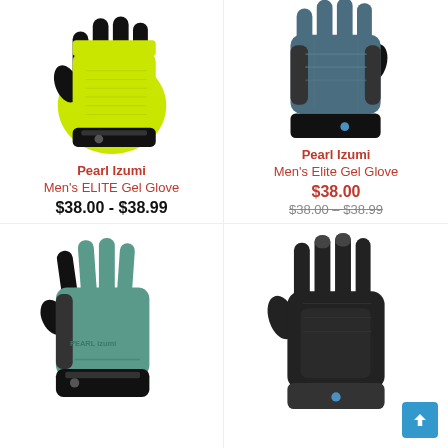[Figure (photo): Pearl Izumi yellow/lime fingerless cycling glove on white background]
Pearl Izumi
Men's ELITE Gel Glove
$38.00 - $38.99
[Figure (photo): Pearl Izumi blue/grey fingerless cycling glove on white background]
Pearl Izumi
Men's Elite Gel Glove
$38.00
$38.00 – $38.99
[Figure (photo): Pearl Izumi teal/mint fingerless cycling glove on white background]
[Figure (photo): Black full-finger cycling glove on white background with back-to-top button]